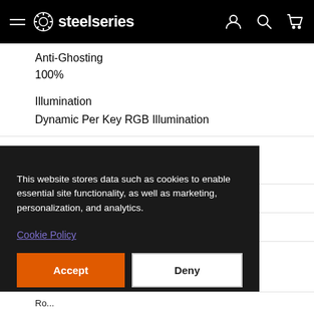steelseries
Anti-Ghosting
100%
Illumination
Dynamic Per Key RGB Illumination
This website stores data such as cookies to enable essential site functionality, as well as marketing, personalization, and analytics.
Cookie Policy
Accept
Deny
Ro...